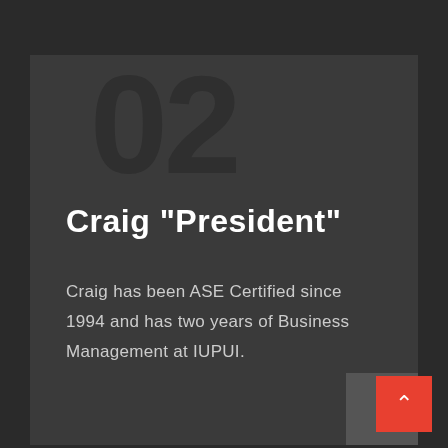Craig "President"
Craig has been ASE Certified since 1994 and has two years of Business Management at IUPUI.